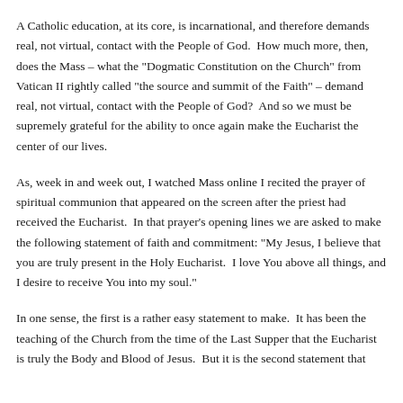A Catholic education, at its core, is incarnational, and therefore demands real, not virtual, contact with the People of God.  How much more, then, does the Mass – what the "Dogmatic Constitution on the Church" from Vatican II rightly called "the source and summit of the Faith" – demand real, not virtual, contact with the People of God?  And so we must be supremely grateful for the ability to once again make the Eucharist the center of our lives.
As, week in and week out, I watched Mass online I recited the prayer of spiritual communion that appeared on the screen after the priest had received the Eucharist.  In that prayer's opening lines we are asked to make the following statement of faith and commitment: "My Jesus, I believe that you are truly present in the Holy Eucharist.  I love You above all things, and I desire to receive You into my soul."
In one sense, the first is a rather easy statement to make.  It has been the teaching of the Church from the time of the Last Supper that the Eucharist is truly the Body and Blood of Jesus.  But it is the second statement that